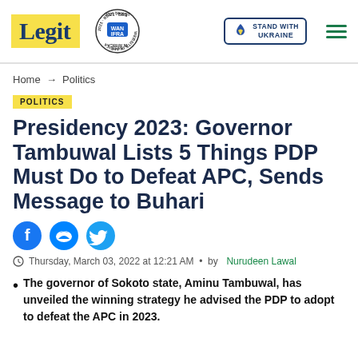Legit | WAN IFRA 2021 Best News Website in Africa | Stand with Ukraine
Home → Politics
POLITICS
Presidency 2023: Governor Tambuwal Lists 5 Things PDP Must Do to Defeat APC, Sends Message to Buhari
Thursday, March 03, 2022 at 12:21 AM • by Nurudeen Lawal
The governor of Sokoto state, Aminu Tambuwal, has unveiled the winning strategy he advised the PDP to adopt to defeat the APC in 2023.